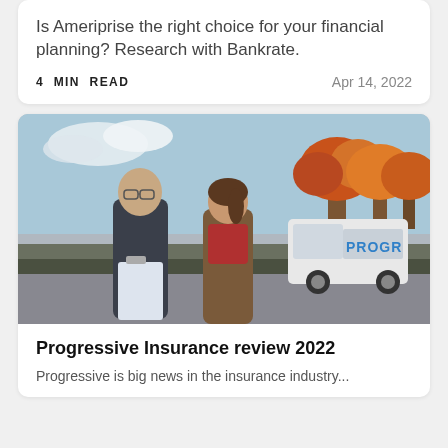Is Ameriprise the right choice for your financial planning? Research with Bankrate.
4 MIN READ    Apr 14, 2022
[Figure (photo): A Progressive Insurance agent and a woman looking at paperwork together outside near a white Progressive branded truck, with autumn trees in the background]
Progressive Insurance review 2022
Progressive is big news in the insurance industry...